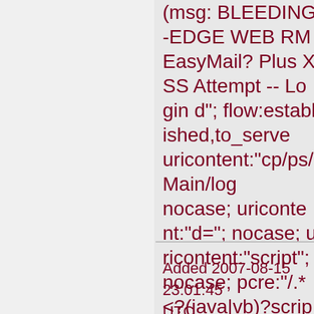(msg: BLEEDING-EDGE WEB RM EasyMail? Plus XSS Attempt -- Login d"; flow:established,to_server uricontent:"cp/ps/Main/log nocase; uricontent:"d="; nocase; uricontent:"script"; nocase; pcre:"/.*<?(java|vb)?script>?.*<.+\/script>?/iU"; classtype:web-application-attack; reference:cve,CVE-2007-2802; reference:url,www.secuni sid:2004571; rev:2;)
Added 2007-08-15 23:01:45 UTC